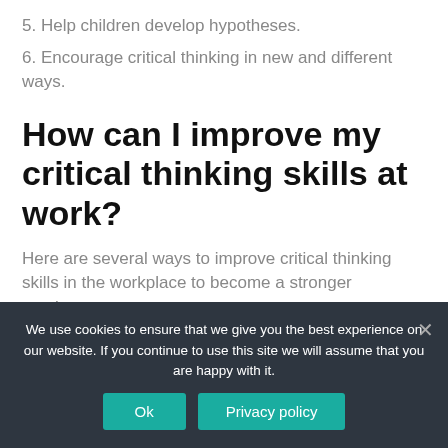5. Help children develop hypotheses.
6. Encourage critical thinking in new and different ways.
How can I improve my critical thinking skills at work?
Here are several ways to improve critical thinking skills in the workplace to become a stronger employee:
1. Become more self-aware.
2. Understand your mental process.
We use cookies to ensure that we give you the best experience on our website. If you continue to use this site we will assume that you are happy with it.